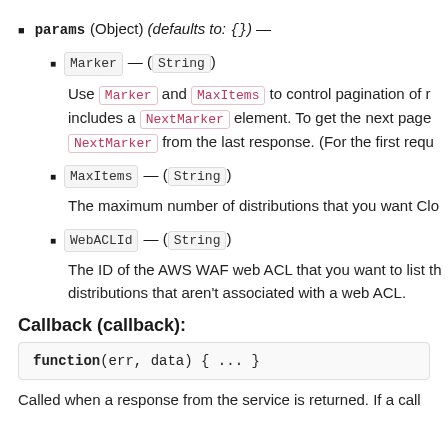params (Object) (defaults to: {}) —
Marker — (String)
Use Marker and MaxItems to control pagination of results. If the response includes a NextMarker element. To get the next page of results, submit another request, and include the value of NextMarker from the last response. (For the first requ...
MaxItems — (String)
The maximum number of distributions that you want Clo...
WebACLId — (String)
The ID of the AWS WAF web ACL that you want to list th... distributions that aren't associated with a web ACL.
Callback (callback):
Called when a response from the service is returned. If a call...